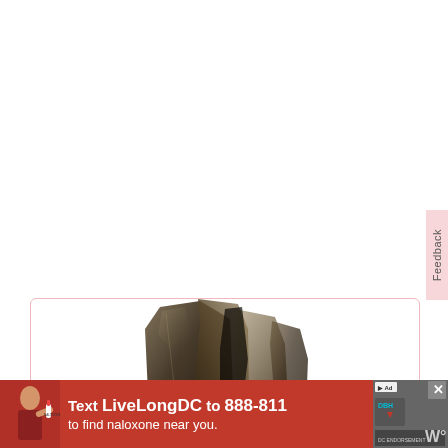[Figure (photo): A dark smoky quartz mineral crystal specimen photographed against a white background, showing dark brownish-black translucent angular crystal structure.]
[Figure (photo): Advertisement banner: 'Text LiveLongDC to 888-811 to find naloxone near you.' with a red background, person holding a naloxone nasal spray, DBH logo, and close/dismiss buttons.]